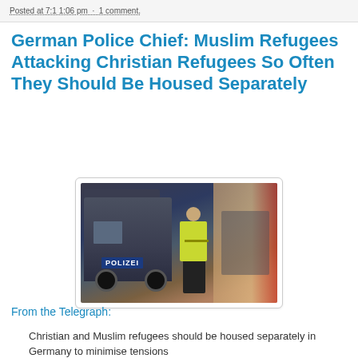Posted at 7:1 1:06 pm · 1 comment.
German Police Chief: Muslim Refugees Attacking Christian Refugees So Often They Should Be Housed Separately
[Figure (photo): A German police (Polizei) van parked inside a facility with a police officer in a yellow high-visibility vest standing in front of it. Several people are visible in the background.]
From the Telegraph:
Christian and Muslim refugees should be housed separately in Germany to minimise tensions